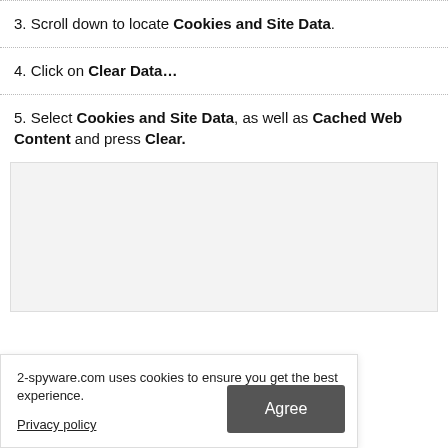3. Scroll down to locate Cookies and Site Data.
4. Click on Clear Data...
5. Select Cookies and Site Data, as well as Cached Web Content and press Clear.
[Figure (screenshot): Screenshot of Firefox clear data dialog, partially visible with gray background]
2-spyware.com uses cookies to ensure you get the best experience.
Privacy policy
Agree